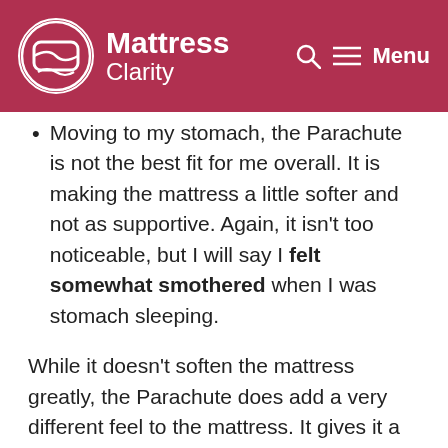Mattress Clarity
Moving to my stomach, the Parachute is not the best fit for me overall. It is making the mattress a little softer and not as supportive. Again, it isn't too noticeable, but I will say I felt somewhat smothered when I was stomach sleeping.
While it doesn't soften the mattress greatly, the Parachute does add a very different feel to the mattress. It gives it a very fluffy, pillow-top feel. If you like pillow-top mattresses, this could be a quick way to get that feel.
Sometimes mattress toppers can add some